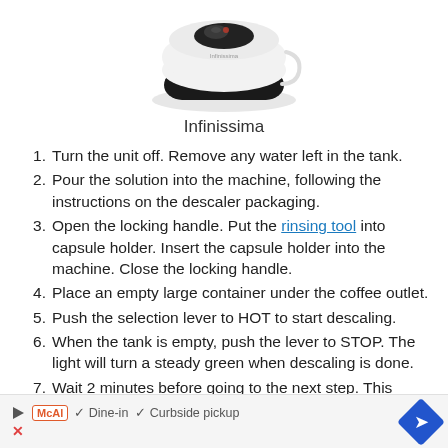[Figure (photo): Top portion of a white Infinissima coffee machine on a white background]
Infinissima
Turn the unit off. Remove any water left in the tank.
Pour the solution into the machine, following the instructions on the descaler packaging.
Open the locking handle. Put the rinsing tool into capsule holder. Insert the capsule holder into the machine. Close the locking handle.
Place an empty large container under the coffee outlet.
Push the selection lever to HOT to start descaling.
When the tank is empty, push the lever to STOP. The light will turn a steady green when descaling is done.
Wait 2 minutes before going to the next step. This gives it time to clean the inside of the machine.
▷ McAl ✓ Dine-in ✓ Curbside pickup ➡ ✗